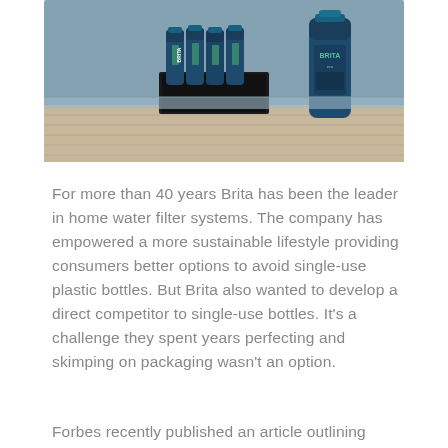[Figure (photo): Photo of Brita branded water bottles and a multi-pack sitting on a wooden dock surface with water in the background. The bottles are dark blue/navy metallic with teal Brita branding.]
For more than 40 years Brita has been the leader in home water filter systems. The company has empowered a more sustainable lifestyle providing consumers better options to avoid single-use plastic bottles. But Brita also wanted to develop a direct competitor to single-use bottles. It's a challenge they spent years perfecting and skimping on packaging wasn't an option.
Forbes recently published an article outlining